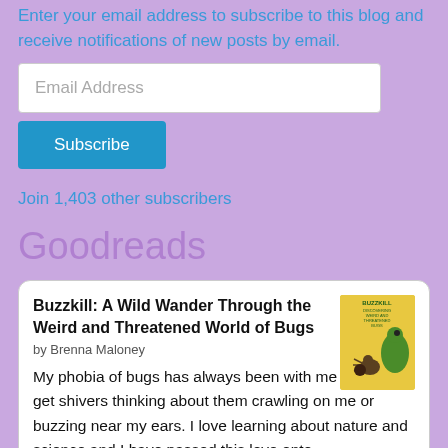Enter your email address to subscribe to this blog and receive notifications of new posts by email.
Email Address
Subscribe
Join 1,403 other subscribers
Goodreads
Buzzkill: A Wild Wander Through the Weird and Threatened World of Bugs by Brenna Maloney
My phobia of bugs has always been with me and I still get shivers thinking about them crawling on me or buzzing near my ears. I love learning about nature and science and I have passed this love onto